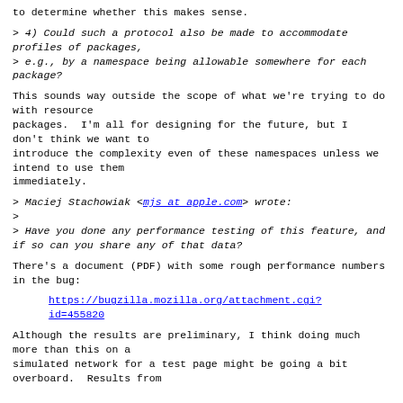to determine whether this makes sense.
> 4) Could such a protocol also be made to accommodate profiles of packages,
> e.g., by a namespace being allowable somewhere for each package?
This sounds way outside the scope of what we're trying to do with resource packages.  I'm all for designing for the future, but I don't think we want to introduce the complexity even of these namespaces unless we intend to use them immediately.
> Maciej Stachowiak <mjs at apple.com> wrote:
>
> Have you done any performance testing of this feature, and if so can you share any of that data?
There's a document (PDF) with some rough performance numbers in the bug:
https://bugzilla.mozilla.org/attachment.cgi?id=455820
Although the results are preliminary, I think doing much more than this on a simulated network for a test page might be going a bit overboard.  Results from